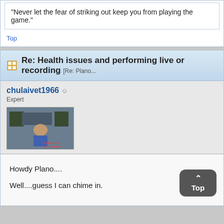"Never let the fear of striking out keep you from playing the game."
Top
Re: Health issues and performing live or recording [Re: Plano...
chulaivet1966
Expert
[Figure (photo): User avatar photo of chulaivet1966 in a recording studio with speakers]
Howdy Plano....
Well....guess I can chime in.